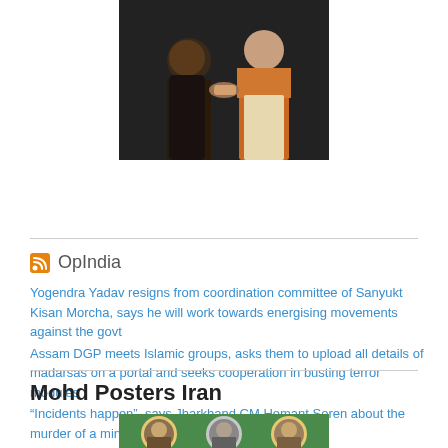[Figure (photo): Two people in a ceremony, one in dark clothing and one in orange/white traditional Indian attire, exchanging something]
OpIndia
Yogendra Yadav resigns from coordination committee of Sanyukt Kisan Morcha, says he will work towards energising movements against the govt
Assam DGP meets Islamic groups, asks them to upload all details of madarsas on a portal and seeks cooperation in busting terror modules
“Incidents happen”, says Jharkhand CM Hemant Soren about the murder of a minor tribal girl in Dumka
Mohd Posters Iran
[Figure (photo): Circular portrait images of people, partially visible at bottom of page]